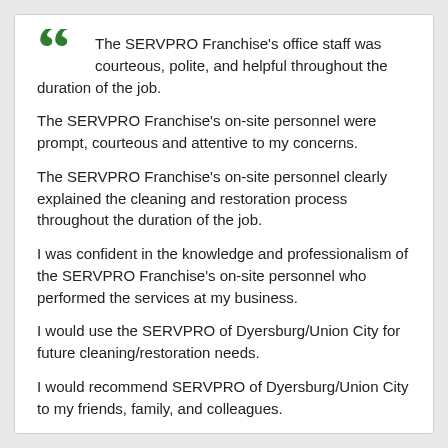The SERVPRO Franchise's office staff was courteous, polite, and helpful throughout the duration of the job.
The SERVPRO Franchise's on-site personnel were prompt, courteous and attentive to my concerns.
The SERVPRO Franchise's on-site personnel clearly explained the cleaning and restoration process throughout the duration of the job.
I was confident in the knowledge and professionalism of the SERVPRO Franchise's on-site personnel who performed the services at my business.
I would use the SERVPRO of Dyersburg/Union City for future cleaning/restoration needs.
I would recommend SERVPRO of Dyersburg/Union City to my friends, family, and colleagues.
Overall, I am satisfied with the service provided by the SERVPRO of Dyersburg/Union City.